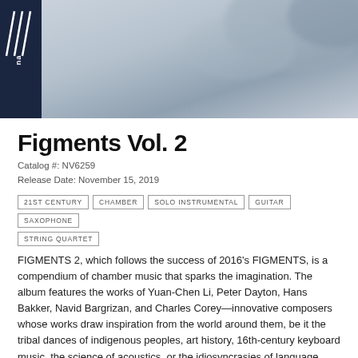[Figure (photo): Album cover image showing a wintry, misty atmospheric landscape in grey-blue tones with a dark logo in the top-left corner]
Figments Vol. 2
Catalog #: NV6259
Release Date: November 15, 2019
21ST CENTURY
CHAMBER
SOLO INSTRUMENTAL
GUITAR
SAXOPHONE
STRING QUARTET
FIGMENTS 2, which follows the success of 2016's FIGMENTS, is a compendium of chamber music that sparks the imagination. The album features the works of Yuan-Chen Li, Peter Dayton, Hans Bakker, Navid Bargrizan, and Charles Corey—innovative composers whose works draw inspiration from the world around them, be it the tribal dances of indigenous peoples, art history, 16th-century keyboard music, the science of acoustics, or the idiosyncrasies of language.